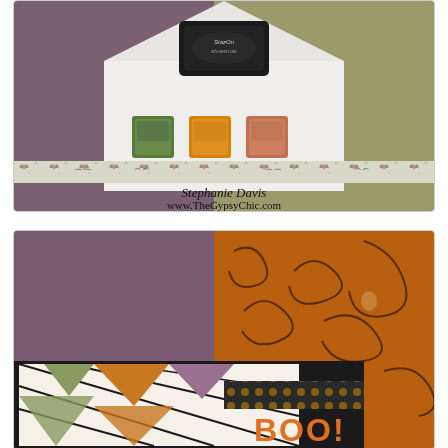[Figure (photo): Photo of crafting supplies: a black StazOn ink pad at top center, three small ink pads (green, orange, coral/orange) on a white triangular surface, a decorative washi tape strip with Halloween bat motifs at the bottom. Text overlay reads 'Stephanie Davis' and 'www.TheGypsyChic.com'.]
[Figure (photo): Photo of a Halloween-themed handmade card showing: left side purple/mauve cardstock background, right side orange patterned paper with dark swirl designs. Lower portion shows a card front with black-framed diamond/argyle pattern using green, orange, and purple patterned papers. A decorative ribbon/border strip with dots and Halloween motifs, and large orange 'BOO!' text letters on black background are visible.]